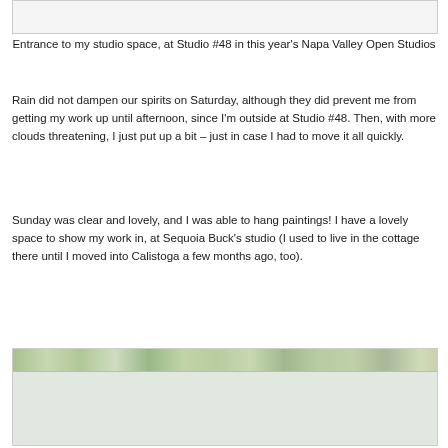[Figure (photo): Top portion of a photo showing entrance to studio space, mostly white/light area visible]
Entrance to my studio space, at Studio #48 in this year's Napa Valley Open Studios
Rain did not dampen our spirits on Saturday, although they did prevent me from getting my work up until afternoon, since I'm outside at Studio #48. Then, with more clouds threatening, I just put up a bit – just in case I had to move it all quickly.
Sunday was clear and lovely, and I was able to hang paintings! I have a lovely space to show my work in, at Sequoia Buck's studio (I used to live in the cottage there until I moved into Calistoga a few months ago, too).
[Figure (photo): Strip photo showing outdoor studio space with trees and garden, panoramic view of Sequoia Buck's studio area]